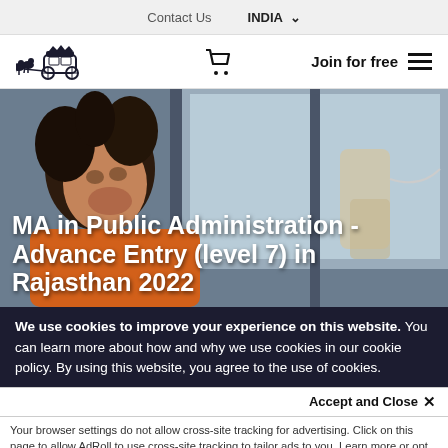Contact Us   INDIA ▾
[Figure (logo): Carriage with horses logo and navigation bar with cart icon, Join for free text, and hamburger menu]
[Figure (photo): Young woman smiling looking at a screen inside a car, hero banner for MA in Public Administration course]
MA in Public Administration - Advance Entry (level 7) in Rajasthan 2022
We use cookies to improve your experience on this website. You can learn more about how and why we use cookies in our cookie policy. By using this website, you agree to the use of cookies.
Accept and Close ×
Your browser settings do not allow cross-site tracking for advertising. Click on this page to allow AdRoll to use cross-site tracking to tailor ads to you. Learn more or opt out of this AdRoll tracking by clicking here. This message only appears once.